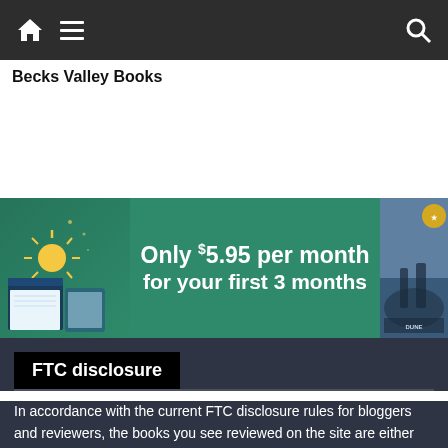Becks Valley Books
[Figure (infographic): Amazon Kindle Unlimited advertisement banner on a teal/green background reading 'Only $5.95 per month for your first 3 months' with decorative book art on the left and a book cover on the right]
FTC disclosure
In accordance with the current FTC disclosure rules for bloggers and reviewers, the books you see reviewed on the site are either purchased by myself or are obtained through NetGalley, Kindle Unlimited, or directly from the author, publisher or tour host in an exchange for an honest review.